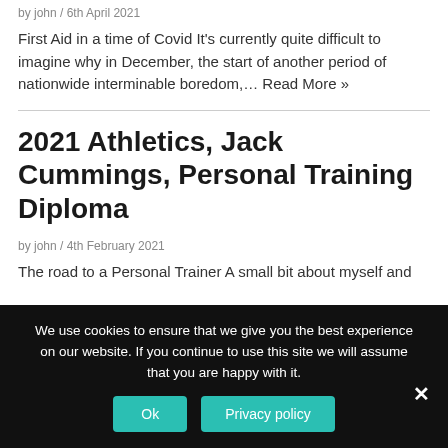by john / 6th April 2021
First Aid in a time of Covid It's currently quite difficult to imagine why in December, the start of another period of nationwide interminable boredom,… Read More »
2021 Athletics, Jack Cummings, Personal Training Diploma
by john / 4th February 2021
The road to a Personal Trainer A small bit about myself and
We use cookies to ensure that we give you the best experience on our website. If you continue to use this site we will assume that you are happy with it. Ok Privacy policy